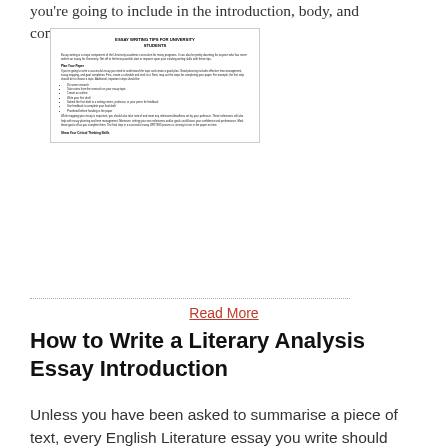you're going to include in the introduction, body, and conclusion.
[Figure (screenshot): Thumbnail/preview image of a document titled 'Essay Writing Tips for University Students' with sections including Plan Your Paper and Show Your Critical Thinking Skills, with body text and bullet-point lists.]
Read More
How to Write a Literary Analysis Essay Introduction
Unless you have been asked to summarise a piece of text, every English Literature essay you write should have a clear